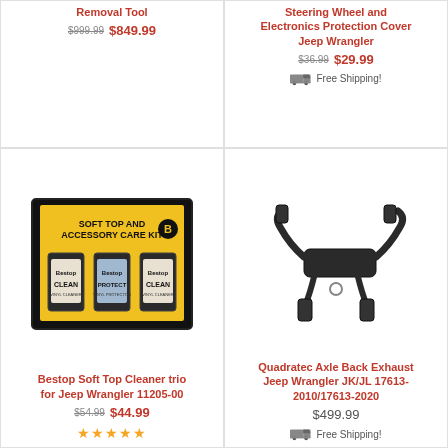Removal Tool
$999.99  $849.99
Steering Wheel and Electronics Protection Cover Jeep Wrangler
$36.99  $29.99
Free Shipping!
[Figure (photo): Bestop Soft Top and Accessory Care Kit box with Clean, Protect, and Clean bottles]
Bestop Soft Top Cleaner trio for Jeep Wrangler 11205-00
$54.99  $44.99
★★★★★
[Figure (photo): Quadratec Axle Back Exhaust system for Jeep Wrangler JK/JL, black metal dual exhaust]
Quadratec Axle Back Exhaust Jeep Wrangler JK/JL 17613-2010/17613-2020
$499.99
Free Shipping!